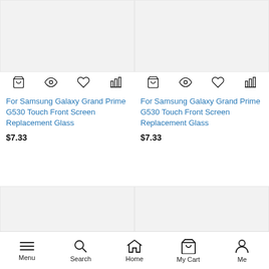[Figure (screenshot): Product listing screenshot showing two product cards for Samsung Galaxy Grand Prime G530 Touch Front Screen Replacement Glass at $7.33 each, with action icons (cart, eye, heart, bar chart) and bottom navigation bar with Menu, Search, Home, My Cart, Me.]